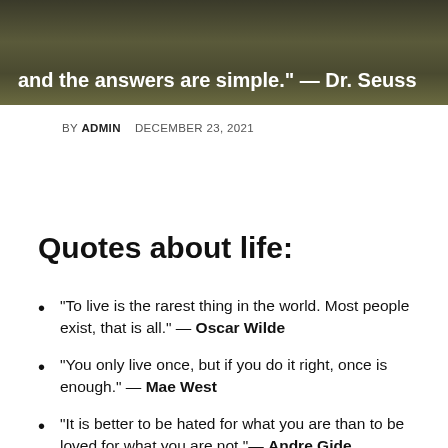[Figure (photo): Dark landscape/nature background image with overlaid white bold quote text partially visible at top]
Sometimes the questions are complicated and the answers are simple." — Dr. Seuss
BY ADMIN   DECEMBER 23, 2021
Quotes about life:
“To live is the rarest thing in the world. Most people exist, that is all.” — Oscar Wilde
“You only live once, but if you do it right, once is enough.” — Mae West
“It is better to be hated for what you are than to be loved for what you are not.”— Andre Gide